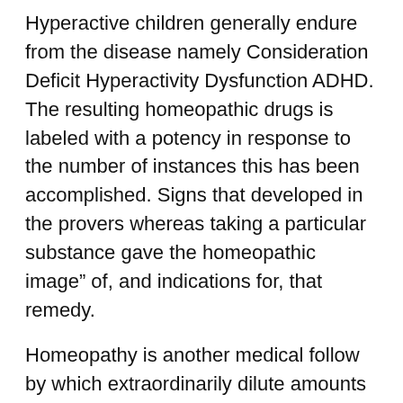Hyperactive children generally endure from the disease namely Consideration Deficit Hyperactivity Dysfunction ADHD. The resulting homeopathic drugs is labeled with a potency in response to the number of instances this has been accomplished. Signs that developed in the provers whereas taking a particular substance gave the homeopathic image” of, and indications for, that remedy.
Homeopathy is another medical follow by which extraordinarily dilute amounts of certain pure substances are used to deal with various ailments. Think about the case of Zicam, a homeopathic chilly remedy pulled from the market in 2009 after experiences of users permanently dropping their sense of odor.
[Figure (photo): Image placeholder labeled 'homeopathic medicine']
In such an illness the physique may overcome the